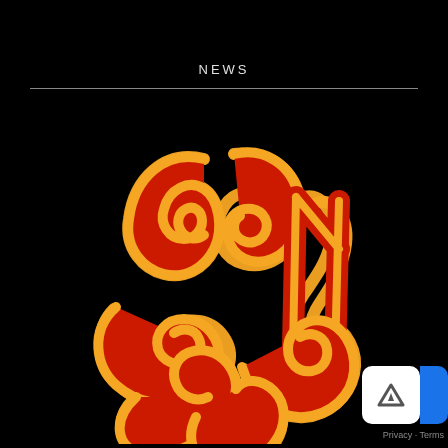NEWS
[Figure (illustration): Red and gold decorative swirling typographic/calligraphic logo on a black background, circular arrangement of stylized letterforms with bold outlines in orange/gold on a red fill.]
Privacy · Terms